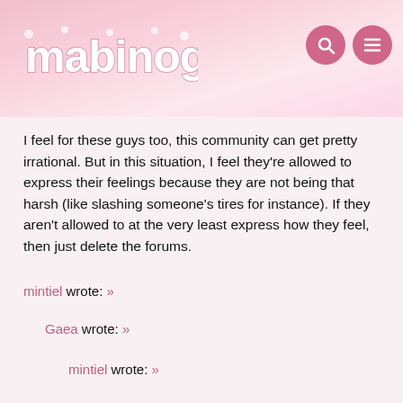mabinogi
I feel for these guys too, this community can get pretty irrational. But in this situation, I feel they're allowed to express their feelings because they are not being that harsh (like slashing someone's tires for instance). If they aren't allowed to at the very least express how they feel, then just delete the forums.
mintiel wrote: »
Gaea wrote: »
mintiel wrote: »
Gaea wrote: »
I don't do customer service anymore. People are just awful. That's all I am going to say.
So, because you had bad experiences with